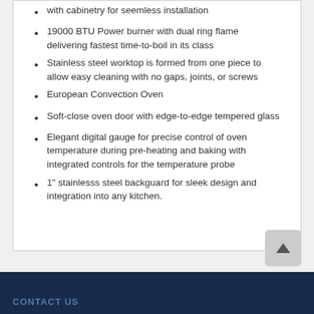with cabinetry for seemless installation
19000 BTU Power burner with dual ring flame delivering fastest time-to-boil in its class
Stainless steel worktop is formed from one piece to allow easy cleaning with no gaps, joints, or screws
European Convection Oven
Soft-close oven door with edge-to-edge tempered glass
Elegant digital gauge for precise control of oven temperature during pre-heating and baking with integrated controls for the temperature probe
1" stainlesss steel backguard for sleek design and integration into any kitchen.
CONTACT US